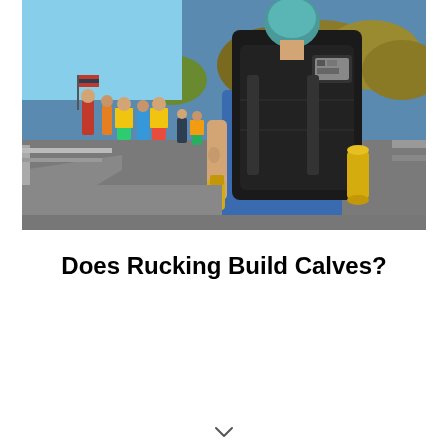[Figure (photo): A group of people rucking (walking with heavy backpacks) along a road/bridge. The foreground shows a person wearing a blue t-shirt with a large black backpack with a yellow water bottle holder and yellow gloves hanging off it. The person has blue/teal hair. In the background, more people are walking, some wearing high-visibility vests. Trees with autumn leaves are visible in the background.]
Does Rucking Build Calves?